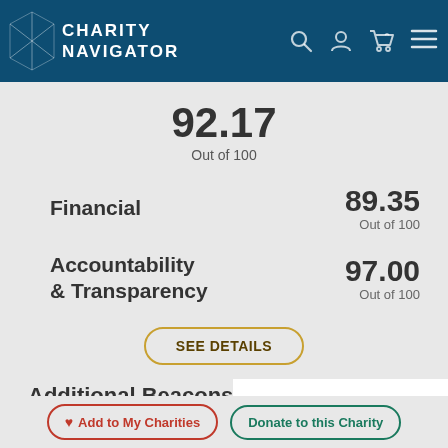Charity Navigator
92.17
Out of 100
Financial 89.35 Out of 100
Accountability & Transparency 97.00 Out of 100
SEE DETAILS
Additional Beacons
Impact & Results Not Scored
Add to My Charities   Donate to this Charity